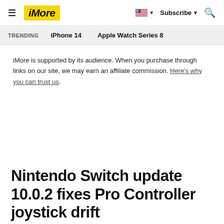iMore — Subscribe
TRENDING   iPhone 14   Apple Watch Series 8
iMore is supported by its audience. When you purchase through links on our site, we may earn an affiliate commission. Here's why you can trust us.
Nintendo Switch update 10.0.2 fixes Pro Controller joystick drift